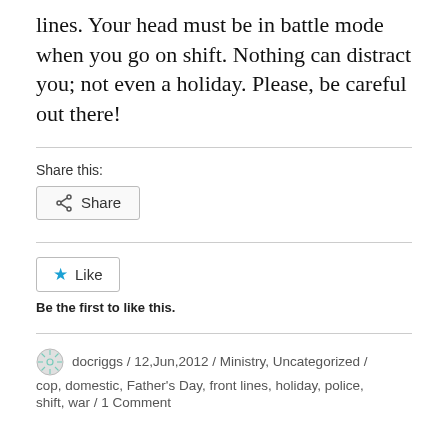lines. Your head must be in battle mode when you go on shift. Nothing can distract you; not even a holiday. Please, be careful out there!
Share this:
[Figure (other): Share button with share icon]
[Figure (other): Like button with blue star icon]
Be the first to like this.
docriggs / 12,Jun,2012 / Ministry, Uncategorized / cop, domestic, Father's Day, front lines, holiday, police, shift, war / 1 Comment